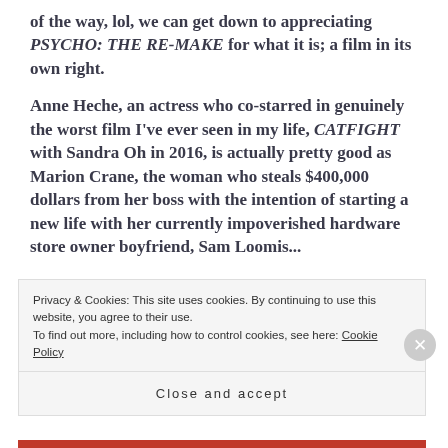of the way, lol, we can get down to appreciating PSYCHO: THE RE-MAKE for what it is; a film in its own right.
Anne Heche, an actress who co-starred in genuinely the worst film I've ever seen in my life, CATFIGHT with Sandra Oh in 2016, is actually pretty good as Marion Crane, the woman who steals $400,000 dollars from her boss with the intention of starting a new life with her currently impoverished hardware store owner boyfriend, Sam Loomis...
Privacy & Cookies: This site uses cookies. By continuing to use this website, you agree to their use. To find out more, including how to control cookies, see here: Cookie Policy
Close and accept